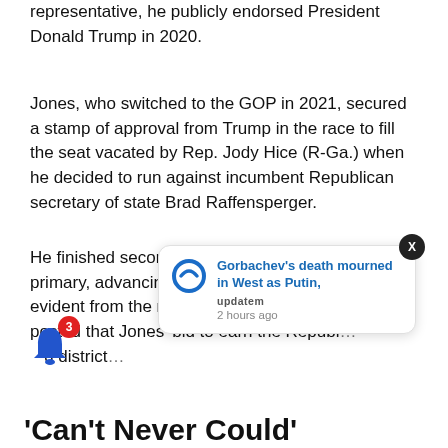representative, he publicly endorsed President Donald Trump in 2020.
Jones, who switched to the GOP in 2021, secured a stamp of approval from Trump in the race to fill the seat vacated by Rep. Jody Hice (R-Ga.) when he decided to run against incumbent Republican secretary of state Brad Raffensperger.
He finished second to Collins in the May 24 primary, advancing to the June 21 runoff, but it was evident from the moment the initial results were posted that Jones' bid to earn the Republ… district…
[Figure (infographic): Notification popup from 'updatem' app showing headline: Gorbachev's death mourned in West as Putin, 2 hours ago. Also shows a bell icon with red badge showing 3.]
'Can't Never Could'